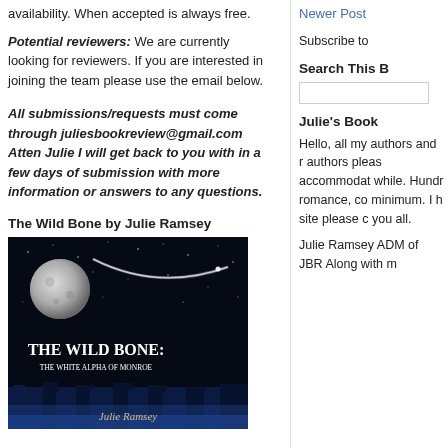availability. When accepted is always free.
Potential reviewers: We are currently looking for reviewers. If you are interested in joining the team please use the email below.
All submissions/requests must come through juliesbookreview@gmail.com Atten Julie I will get back to you with in a few days of submission with more information or answers to any questions.
The Wild Bone by Julie Ramsey
[Figure (photo): Book cover of The Wild Bone: The White Alpha of Monroe by Julie Ramsey. Dark background with moon and stars, silhouette of trees/landscape at bottom in blue.]
Newer Post
Subscribe to
Search This B
Julie's Book
Hello, all my authors and r authors pleas accommodat while. Hundr romance, co minimum. I h site please c you all.
Julie Ramsey ADM of JBR Along with m